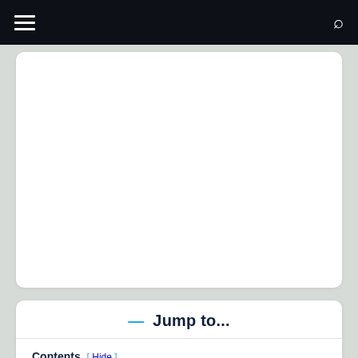Navigation bar with hamburger menu and search icon
[Figure (other): White rectangular advertisement or image placeholder box]
Jump to...
Contents [ Hide ]
1. The Season Determines Your Catch
2. Catch And Release: Shark Fishing